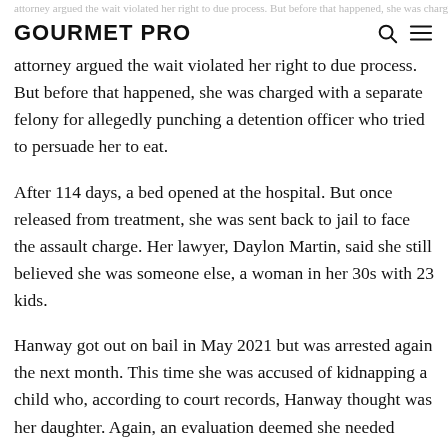GOURMET PRO
attorney argued the wait violated her right to due process. But before that happened, she was charged with a separate felony for allegedly punching a detention officer who tried to persuade her to eat.
After 114 days, a bed opened at the hospital. But once released from treatment, she was sent back to jail to face the assault charge. Her lawyer, Daylon Martin, said she still believed she was someone else, a woman in her 30s with 23 kids.
Hanway got out on bail in May 2021 but was arrested again the next month. This time she was accused of kidnapping a child who, according to court records, Hanway thought was her daughter. Again, an evaluation deemed she needed treatment, and again she went on the hospital's waitlist, sitting in jail an